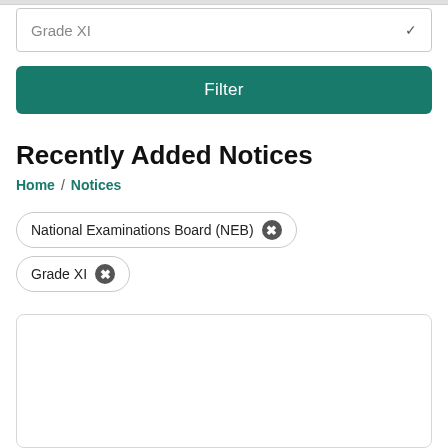Grade XI
Filter
Recently Added Notices
Home / Notices
National Examinations Board (NEB) ✕
Grade XI ✕